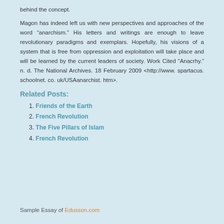behind the concept.
Magon has indeed left us with new perspectives and approaches of the word “anarchism. ” His letters and writings are enough to leave revolutionary paradigms and exemplars. Hopefully, his visions of a system that is free from oppression and exploitation will take place and will be learned by the current leaders of society. Work Cited “Anacrhy. ” n. d. The National Archives. 18 February 2009 <http://www. spartacus. schoolnet. co. uk/USAanarchist. htm>.
Related Posts:
1. Friends of the Earth
2. French Revolution
3. The Five Pillars of Islam
4. French Revolution
Sample Essay of Edusson.com